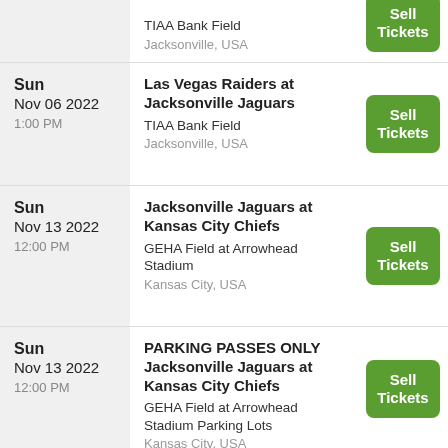| Date | Event | Action |
| --- | --- | --- |
|  | TIAA Bank Field Parking Lots
Jacksonville, USA | Sell Tickets |
| Sun
Nov 06 2022
1:00 PM | Las Vegas Raiders at Jacksonville Jaguars
TIAA Bank Field
Jacksonville, USA | Sell Tickets |
| Sun
Nov 13 2022
12:00 PM | Jacksonville Jaguars at Kansas City Chiefs
GEHA Field at Arrowhead Stadium
Kansas City, USA | Sell Tickets |
| Sun
Nov 13 2022
12:00 PM | PARKING PASSES ONLY Jacksonville Jaguars at Kansas City Chiefs
GEHA Field at Arrowhead Stadium Parking Lots
Kansas City, USA | Sell Tickets |